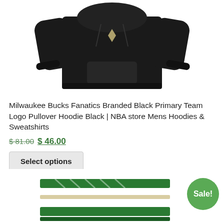[Figure (photo): Black Milwaukee Bucks pullover hoodie with team logo on chest, shown from front against white background]
Milwaukee Bucks Fanatics Branded Black Primary Team Logo Pullover Hoodie Black | NBA store Mens Hoodies & Sweatshirts
$ 81.00 $ 46.00
Select options
[Figure (photo): Green and white striped knit scarf, partially visible at bottom of page, with Sale! badge]